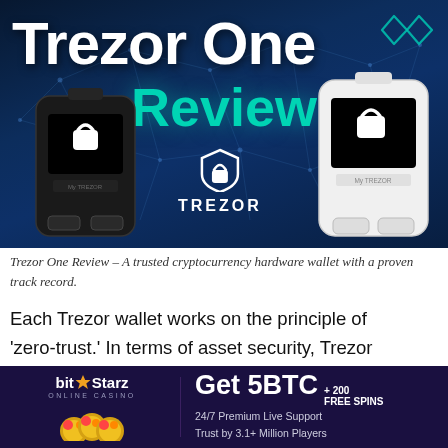[Figure (photo): Trezor One Review hero image showing two Trezor hardware wallets (one black, one white) on a dark blue network/world map background with the text 'Trezor One' in white and 'Review' in teal/cyan color. A Trezor logo icon is in the top right and center of the image.]
Trezor One Review – A trusted cryptocurrency hardware wallet with a proven track record.
Each Trezor wallet works on the principle of 'zero-trust.' In terms of asset security, Trezor works on the expectation that even secure cryptographic systems might become
[Figure (infographic): BitStarz Online Casino advertisement banner with dark purple background. Left side shows BitStarz logo with star and casino chips. Right side shows 'Get 5BTC + 200 FREE SPINS' with '24/7 Premium Live Support' and 'Trust by 3.1+ Million Players' text.]